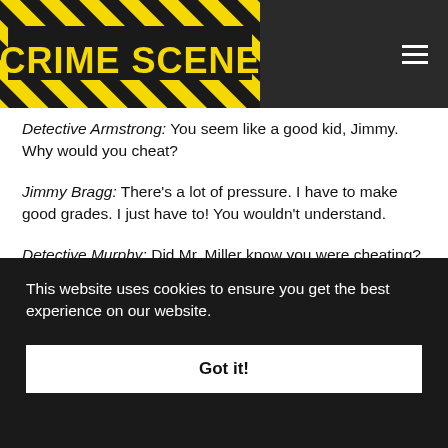[Figure (logo): Crime Scene website logo — yellow and black hazard-stripe banner with bold yellow text reading CRIME SCENE]
Detective Armstrong: You seem like a good kid, Jimmy. Why would you cheat?
Jimmy Bragg: There's a lot of pressure. I have to make good grades. I just have to! You wouldn't understand.
Detective Murphy: Did Mr. Miller know you were cheating?
Jimmy Bragg: Yeah.
This website uses cookies to ensure you get the best experience on our website.
Got it!